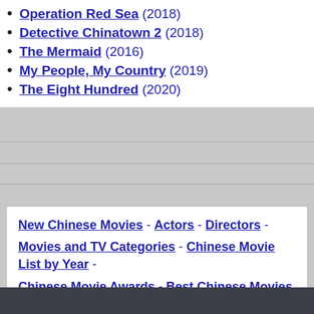Operation Red Sea (2018)
Detective Chinatown 2 (2018)
The Mermaid (2016)
My People, My Country (2019)
The Eight Hundred (2020)
New Chinese Movies - Actors - Directors - Movies and TV Categories - Chinese Movie List by Year - Chinese Movie Awards - Best Chinese Movies - Chinese Movie List A-Z